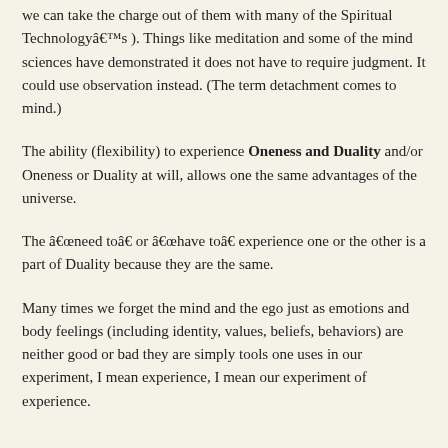we can take the charge out of them with many of the Spiritual Technologyâ€™s ). Things like meditation and some of the mind sciences have demonstrated it does not have to require judgment. It could use observation instead. (The term detachment comes to mind.)
The ability (flexibility) to experience Oneness and Duality and/or Oneness or Duality at will, allows one the same advantages of the universe.
The â€œneed toâ€ or â€œhave toâ€ experience one or the other is a part of Duality because they are the same.
Many times we forget the mind and the ego just as emotions and body feelings (including identity, values, beliefs, behaviors) are neither good or bad they are simply tools one uses in our experiment, I mean experience, I mean our experiment of experience.